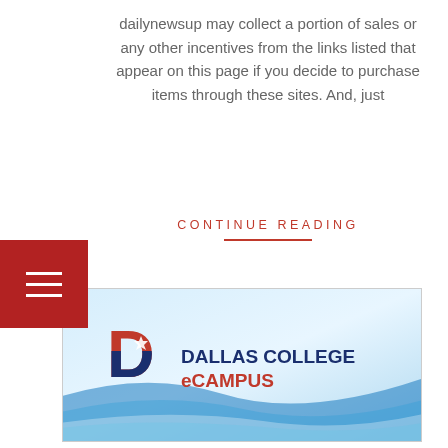dailynewsup may collect a portion of sales or any other incentives from the links listed that appear on this page if you decide to purchase items through these sites. And, just
CONTINUE READING
[Figure (logo): Dallas College eCampus logo on a light blue gradient background with blue wave decorations]
DCCD Blackboard
BY: SHAHZAIBSK / ON: JULY 25, 2022 / IN: